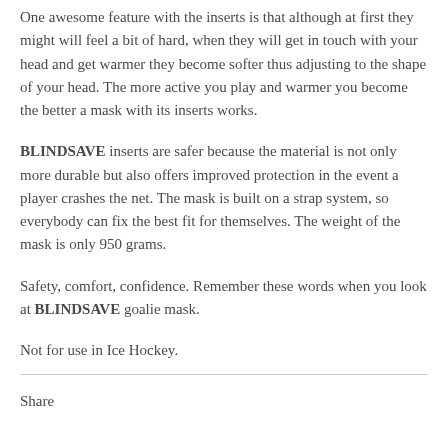One awesome feature with the inserts is that although at first they might will feel a bit of hard, when they will get in touch with your head and get warmer they become softer thus adjusting to the shape of your head. The more active you play and warmer you become the better a mask with its inserts works.
BLINDSAVE inserts are safer because the material is not only more durable but also offers improved protection in the event a player crashes the net. The mask is built on a strap system, so everybody can fix the best fit for themselves. The weight of the mask is only 950 grams.
Safety, comfort, confidence. Remember these words when you look at BLINDSAVE goalie mask.
Not for use in Ice Hockey.
Share